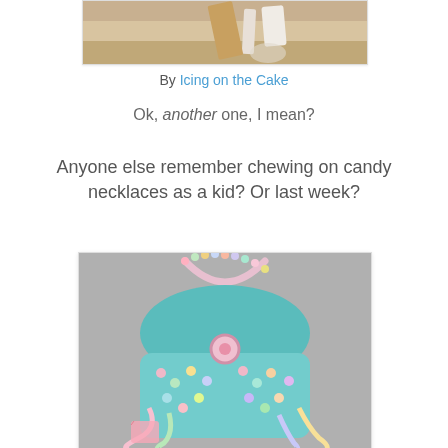[Figure (photo): Partial top view of a baked dessert item, cropped, showing wooden utensil and white cream on a cookie or cake, on a light tiled surface.]
By Icing on the Cake
Ok, another one, I mean?
Anyone else remember chewing on candy necklaces as a kid? Or last week?
[Figure (photo): A cake styled as a purse decorated with colorful candy necklaces draped around it, pastel candy pieces dotting the sides, teal/turquoise fondant forming the purse body, against a gray background.]